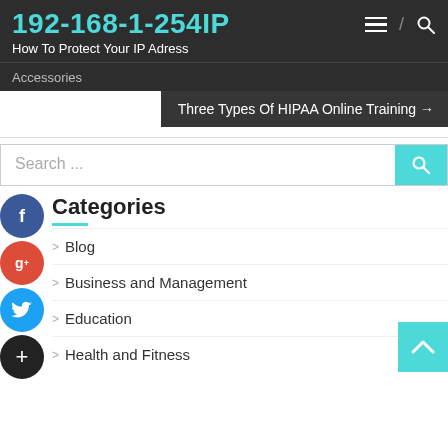192-168-1-254IP
How To Protect Your IP Adress
Accessories
Three Types Of HIPAA Online Training →
Search ...
Categories
Blog
Business and Management
Education
Health and Fitness